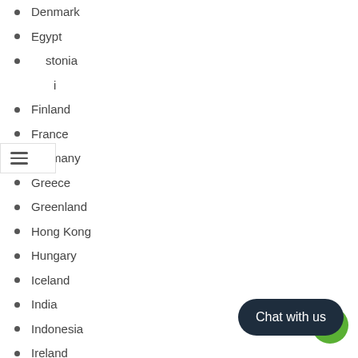Denmark
Egypt
Estonia
Fiji (partial)
Finland
France
Germany
Greece
Greenland
Hong Kong
Hungary
Iceland
India
Indonesia
Ireland
Israel
Italy
Japan
Korea